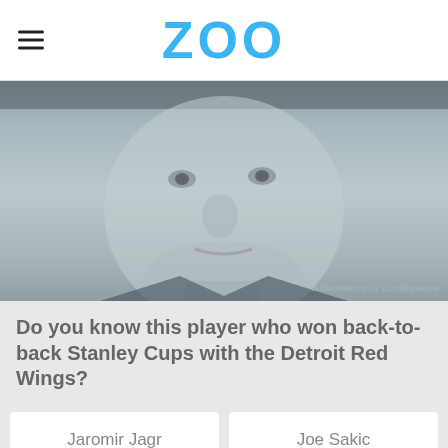ZOO
[Figure (photo): Grayscale photo of a man's face, close-up, with a watermark reading 'Wikicommons by Don Bignisone']
Do you know this player who won back-to-back Stanley Cups with the Detroit Red Wings?
Jaromir Jagr
Joe Sakic